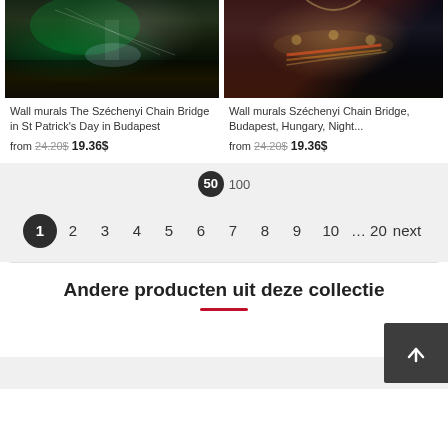[Figure (photo): Wall mural photo of The Széchenyi Chain Bridge in St Patrick's Day in Budapest at night with green lighting]
Wall murals The Széchenyi Chain Bridge in St Patrick's Day in Budapest
from 24.20$ 19.36$
[Figure (photo): Wall mural photo of Széchenyi Chain Bridge Budapest Hungary at night with light trails]
Wall murals Széchenyi Chain Bridge, Budapest, Hungary, Night...
from 24.20$ 19.36$
50  100
1
2
3
4
5
6
7
8
9
10
… 20
next
Andere producten uit deze collectie